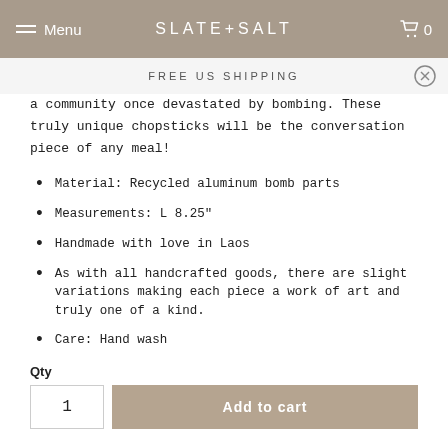Menu | SLATE+SALT | 0
FREE US SHIPPING
a community once devastated by bombing. These truly unique chopsticks will be the conversation piece of any meal!
Material: Recycled aluminum bomb parts
Measurements: L 8.25"
Handmade with love in Laos
As with all handcrafted goods, there are slight variations making each piece a work of art and truly one of a kind.
Care: Hand wash
Qty
1  Add to cart